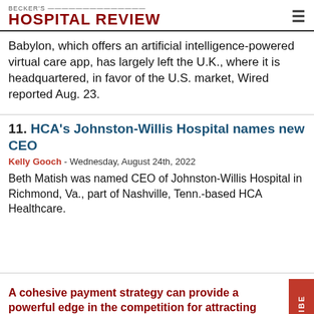BECKER'S HOSPITAL REVIEW
Babylon, which offers an artificial intelligence-powered virtual care app, has largely left the U.K., where it is headquartered, in favor of the U.S. market, Wired reported Aug. 23.
11. HCA's Johnston-Willis Hospital names new CEO
Kelly Gooch - Wednesday, August 24th, 2022
Beth Matish was named CEO of Johnston-Willis Hospital in Richmond, Va., part of Nashville, Tenn.-based HCA Healthcare.
A cohesive payment strategy can provide a powerful edge in the competition for attracting and retaining patients.
Sponsored